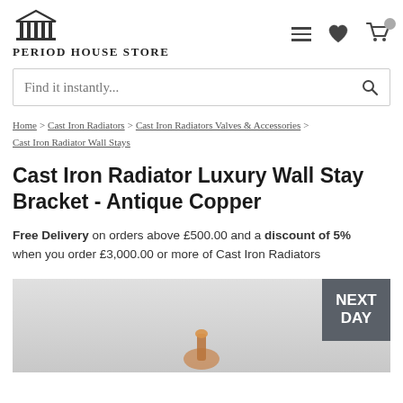Period House Store
Find it instantly...
Home > Cast Iron Radiators > Cast Iron Radiators Valves & Accessories > Cast Iron Radiator Wall Stays
Cast Iron Radiator Luxury Wall Stay Bracket - Antique Copper
Free Delivery on orders above £500.00 and a discount of 5% when you order £3,000.00 or more of Cast Iron Radiators
[Figure (photo): Product image of Cast Iron Radiator Luxury Wall Stay Bracket in Antique Copper, with a Next Day delivery badge overlay]